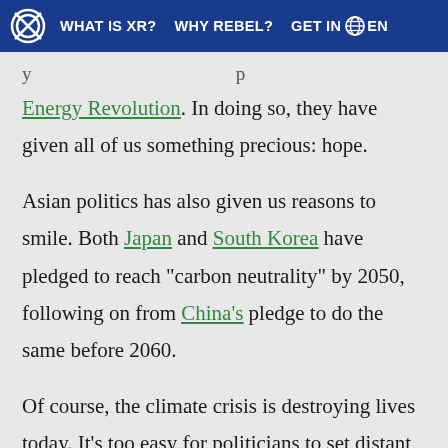WHAT IS XR?   WHY REBEL?   GET INVOLVED   EN
Energy Revolution. In doing so, they have given all of us something precious: hope.
Asian politics has also given us reasons to smile. Both Japan and South Korea have pledged to reach “carbon neutrality” by 2050, following on from China’s pledge to do the same before 2060.
Of course, the climate crisis is destroying lives today. It’s too easy for politicians to set distant targets and draw ambitious roadmaps, when climate science and live reporting demand action now. And